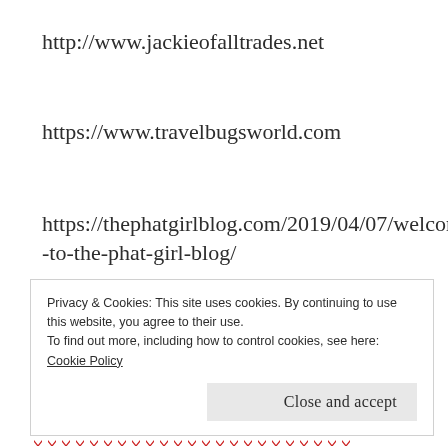http://www.jackieofalltrades.net
https://www.travelbugsworld.com
https://thephatgirlblog.com/2019/04/07/welcome-to-the-phat-girl-blog/
REPORT THIS AD
Privacy & Cookies: This site uses cookies. By continuing to use this website, you agree to their use.
To find out more, including how to control cookies, see here: Cookie Policy
Close and accept